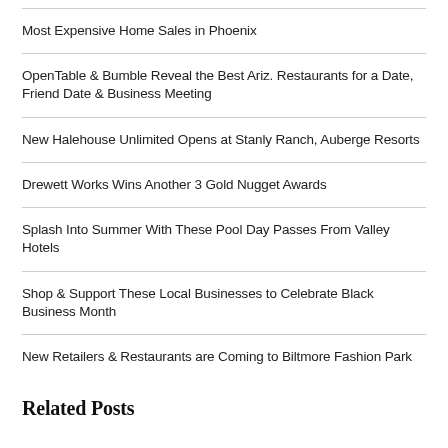Most Expensive Home Sales in Phoenix
OpenTable & Bumble Reveal the Best Ariz. Restaurants for a Date, Friend Date & Business Meeting
New Halehouse Unlimited Opens at Stanly Ranch, Auberge Resorts
Drewett Works Wins Another 3 Gold Nugget Awards
Splash Into Summer With These Pool Day Passes From Valley Hotels
Shop & Support These Local Businesses to Celebrate Black Business Month
New Retailers & Restaurants are Coming to Biltmore Fashion Park
Related Posts